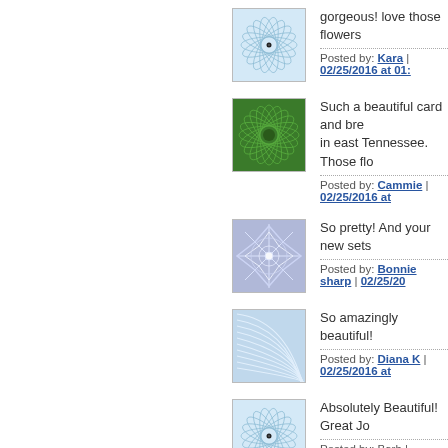[Figure (illustration): Spirograph-style circular pattern avatar, light blue with dark center dot]
gorgeous! love those flowers
Posted by: Kara | 02/25/2016 at 01:
[Figure (illustration): Spirograph-style square pattern avatar, green tones]
Such a beautiful card and bre in east Tennessee. Those flo
Posted by: Cammie | 02/25/2016 at
[Figure (illustration): Geometric star/snowflake pattern avatar, blue/lavender tones]
So pretty! And your new sets
Posted by: Bonnie sharp | 02/25/20
[Figure (illustration): Curved wave pattern avatar, light blue tones]
So amazingly beautiful!
Posted by: Diana K | 02/25/2016 at
[Figure (illustration): Spirograph circular pattern avatar, light blue with dark center dot]
Absolutely Beautiful! Great Jo
Posted by: Barb | 02/25/2016 at 10:
[Figure (illustration): Partial spirograph pattern avatar, teal/green tones, partially visible]